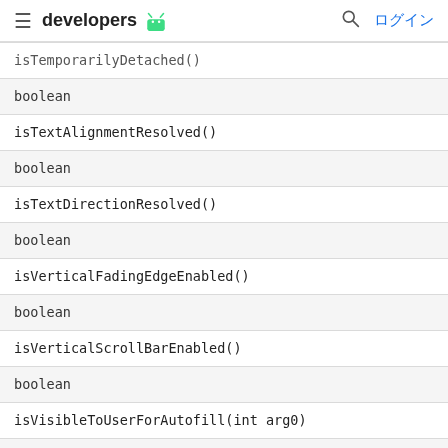developers [android logo] [search] ログイン
| isTemporarilyDetached() |
| boolean |
| isTextAlignmentResolved() |
| boolean |
| isTextDirectionResolved() |
| boolean |
| isVerticalFadingEdgeEnabled() |
| boolean |
| isVerticalScrollBarEnabled() |
| boolean |
| isVisibleToUserForAutofill(int arg0) |
| void |
| jumpDrawablesToCurrentState() |
| View |